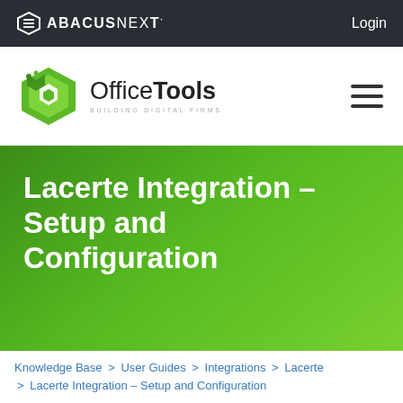ABACUSNEXT  Login
[Figure (logo): OfficeTools logo with green hexagon icon and text 'OfficeTools BUILDING DIGITAL FIRMS', plus hamburger menu icon]
Lacerte Integration – Setup and Configuration
Knowledge Base > User Guides > Integrations > Lacerte > Lacerte Integration – Setup and Configuration